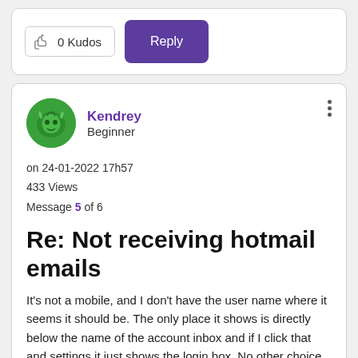[Figure (other): Kudos button with thumbs-up icon showing '0 Kudos' and a purple Reply button]
[Figure (other): User avatar - green circular image with dragon/creature illustration]
Kendrey
Beginner
on 24-01-2022 17h57
433 Views
Message 5 of 6
Re: Not receiving hotmail emails
It's not a mobile, and I don't have the user name where it seems it should be. The only place it shows is directly below the name of the account inbox and if I click that and settings it just shows the login box. No other choice.